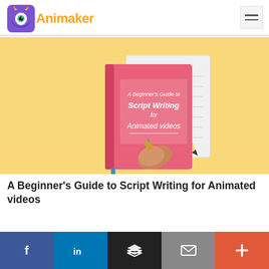Animaker
[Figure (illustration): Illustrated book cover titled 'A Beginner's Guide to Script Writing for Animated videos' with a pink/red book, a writing hand with pen, a teal pencil, and a lined notepad on a yellow background.]
A Beginner's Guide to Script Writing for Animated videos